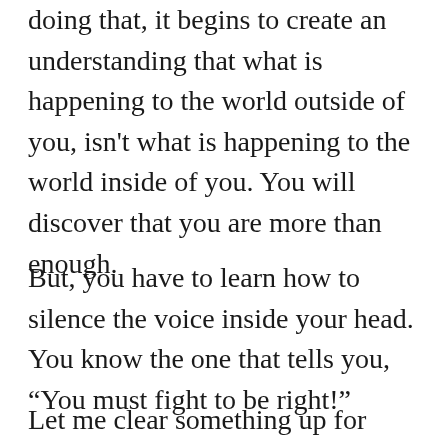doing that, it begins to create an understanding that what is happening to the world outside of you, isn't what is happening to the world inside of you. You will discover that you are more than enough.
But, you have to learn how to silence the voice inside your head. You know the one that tells you, “You must fight to be right!”
Let me clear something up for you, YOU